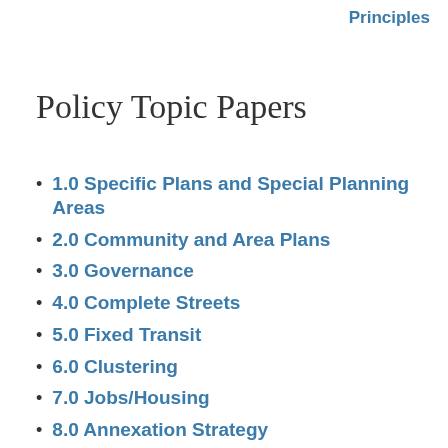Principles
Policy Topic Papers
1.0 Specific Plans and Special Planning Areas
2.0 Community and Area Plans
3.0 Governance
4.0 Complete Streets
5.0 Fixed Transit
6.0 Clustering
7.0 Jobs/Housing
8.0 Annexation Strategy
9.0 Mobility Standards